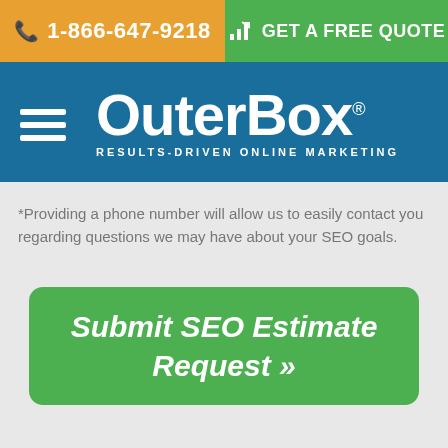1-866-647-9218 | GET A FREE QUOTE
[Figure (logo): OuterBox logo with tagline RESULTS-DRIVEN ONLINE MARKETING on a blue background with hamburger menu icon]
*Providing a phone number will allow us to easily contact you regarding questions we may have about your SEO goals.
Submit SEO Estimate Request »